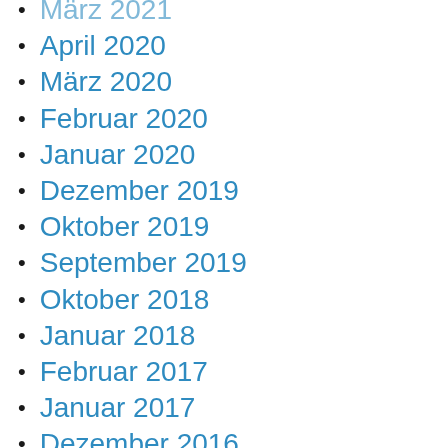März 2021
April 2020
März 2020
Februar 2020
Januar 2020
Dezember 2019
Oktober 2019
September 2019
Oktober 2018
Januar 2018
Februar 2017
Januar 2017
Dezember 2016
November 2016
Oktober 2016
September 2016